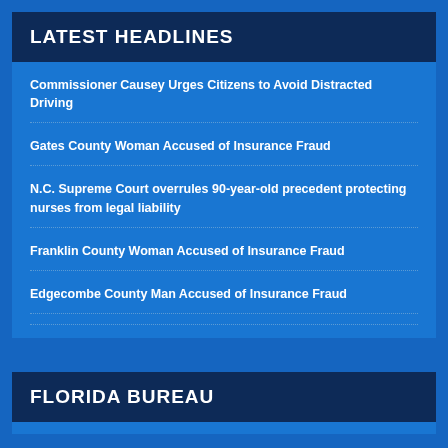LATEST HEADLINES
Commissioner Causey Urges Citizens to Avoid Distracted Driving
Gates County Woman Accused of Insurance Fraud
N.C. Supreme Court overrules 90-year-old precedent protecting nurses from legal liability
Franklin County Woman Accused of Insurance Fraud
Edgecombe County Man Accused of Insurance Fraud
FLORIDA BUREAU